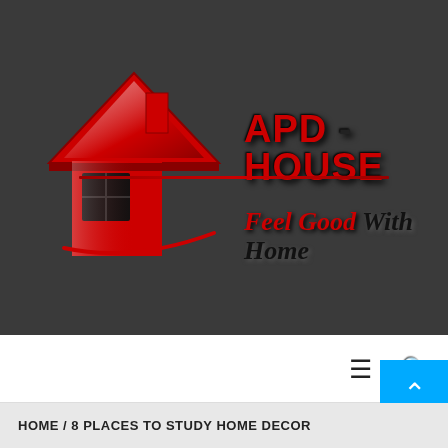[Figure (logo): APD-House logo with red house icon on dark grey background and tagline 'Feel Good With Home']
[Figure (screenshot): Navigation bar with hamburger menu icon and search icon]
HOME / 8 PLACES TO STUDY HOME DECOR